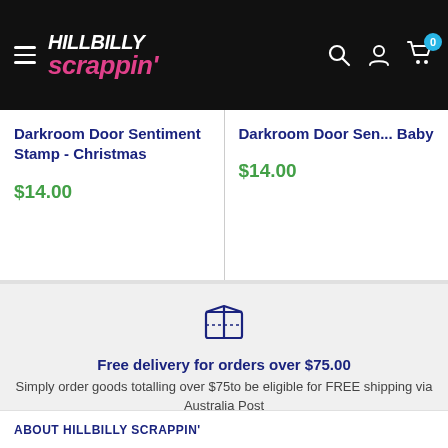Hillbilly Scrappin' - navigation header with logo, search, account, and cart icons
Darkroom Door Sentiment Stamp - Christmas
$14.00
Darkroom Door Sentiment Stamp - Baby
$14.00
[Figure (infographic): Box/package icon in dark navy blue outline style]
Free delivery for orders over $75.00
Simply order goods totalling over $75to be eligible for FREE shipping via Australia Post
ABOUT HILLBILLY SCRAPPIN'